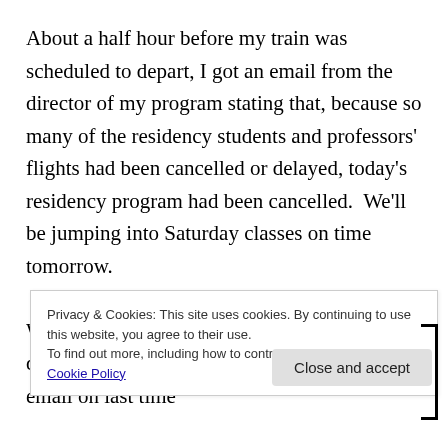About a half hour before my train was scheduled to depart, I got an email from the director of my program stating that, because so many of the residency students and professors' flights had been cancelled or delayed, today's residency program had been cancelled.  We'll be jumping into Saturday classes on time tomorrow.

Well, Sugar Honey Iced Tea.  That certainly does suck eggs.  Glad I thought to check my email on last time b... C... a... and eating all things devoted to the art and craft of
Privacy & Cookies: This site uses cookies. By continuing to use this website, you agree to their use.
To find out more, including how to control cookies, see here: Cookie Policy